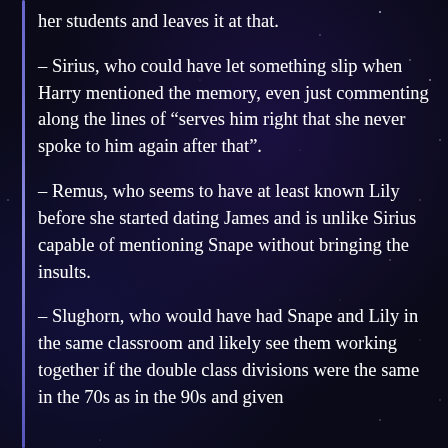her students and leaves it at that.
– Sirius, who could have let something slip when Harry mentioned the memory, even just commenting along the lines of “serves him right that she never spoke to him again after that”.
– Remus, who seems to have at least known Lily before she started dating James and is unlike Sirius capable of mentioning Snape without bringing the insults.
– Slughorn, who would have had Snape and Lily in the same classroom and likely see them working together if the double class divisions were the same in the 70s as in the 90s and given